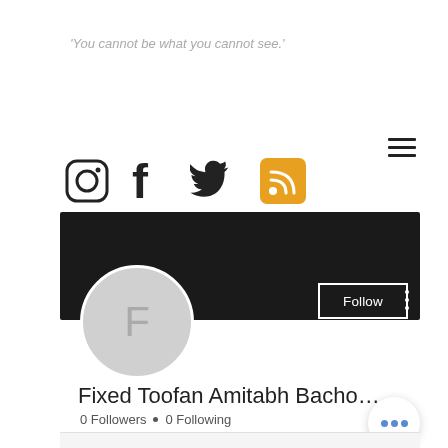'You cannot be what you cannot see.'
[Figure (screenshot): Social media profile page screenshot showing social icons (Instagram, Facebook, Twitter, RSS), a dark banner header, circular avatar with letter F, Follow button, profile name 'Fixed Toofan Amitabh Bacho...', 0 Followers and 0 Following counts, and a floating action button with three blue dots.]